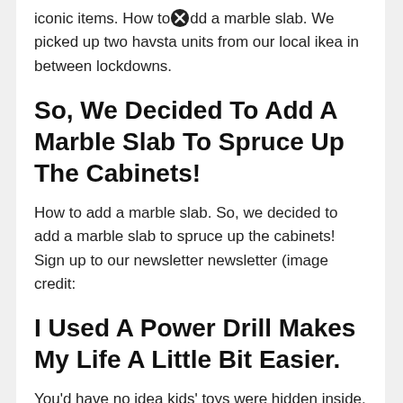iconic items. How to add a marble slab. We picked up two havsta units from our local ikea in between lockdowns.
So, We Decided To Add A Marble Slab To Spruce Up The Cabinets!
How to add a marble slab. So, we decided to add a marble slab to spruce up the cabinets! Sign up to our newsletter newsletter (image credit:
I Used A Power Drill Makes My Life A Little Bit Easier.
You'd have no idea kids' toys were hidden inside. Painting tips for ikea hack. I used a